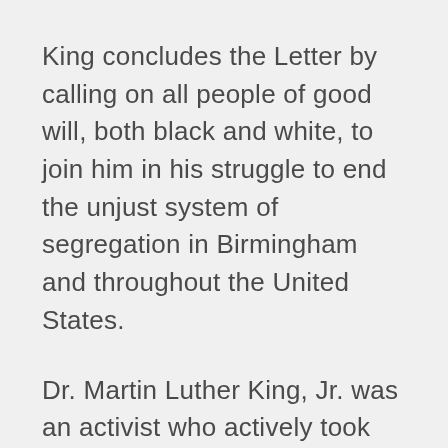King concludes the Letter by calling on all people of good will, both black and white, to join him in his struggle to end the unjust system of segregation in Birmingham and throughout the United States.
Dr. Martin Luther King, Jr. was an activist who actively took part in the Civil Rights movement. The notion that nonviolent methods should be used is emphasized throughout his campaign. He was a Baptist pastor as well as a leader of the Civil Rights movement,